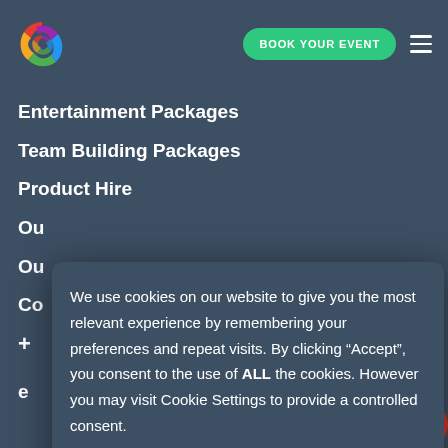[Figure (logo): Colorful spiral/pinwheel logo with red, yellow, green, blue, purple segments]
BOOK YOUR EVENT
Entertainment Packages
Team Building Packages
Product Hire
Ou
Ou
Co
+
e
We use cookies on our website to give you the most relevant experience by remembering your preferences and repeat visits. By clicking “Accept”, you consent to the use of ALL the cookies. However you may visit Cookie Settings to provide a controlled consent.
Cookie settings
ACCEPT